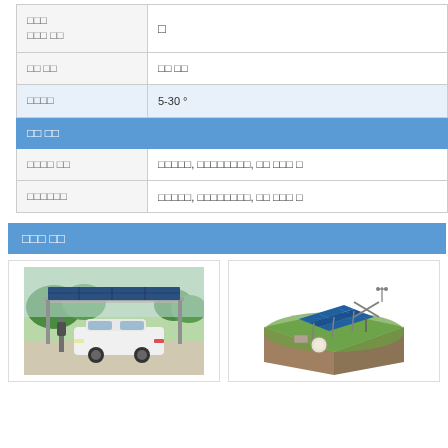| □□□
□□□ □□ | □ |
| □□ □□ | □□ □□ |
| □□□□ | 5-30 ° |
| □□ □□ |  |
| □□□□ □□ | □□□□□, □□□□□□□□, □□ □□□ □ |
| □□□□□□ | □□□□□, □□□□□□□□, □□ □□□ □ |
□□□ □□
[Figure (photo): Car under solar panel carport structure]
[Figure (illustration): Solar panel ground mount system isometric illustration]